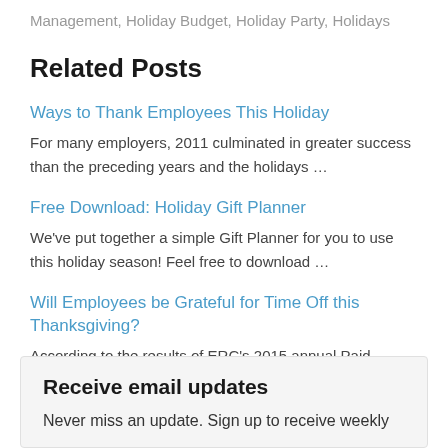Management, Holiday Budget, Holiday Party, Holidays
Related Posts
Ways to Thank Employees This Holiday
For many employers, 2011 culminated in greater success than the preceding years and the holidays …
Free Download: Holiday Gift Planner
We've put together a simple Gift Planner for you to use this holiday season! Feel free to download …
Will Employees be Grateful for Time Off this Thanksgiving?
According to the results of ERC's 2015 annual Paid Holiday Survey, in addition to the Thanksgiving …
Receive email updates
Never miss an update. Sign up to receive weekly